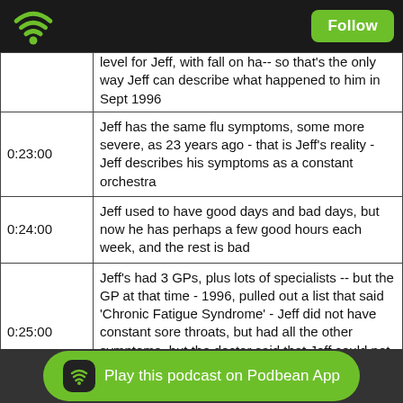Podbean app header with WiFi icon and Follow button
| Timestamp | Content |
| --- | --- |
|  | level for Jeff, with fall on ha-- so that's the only way Jeff can describe what happened to him in Sept 1996 |
| 0:23:00 | Jeff has the same flu symptoms, some more severe, as 23 years ago - that is Jeff's reality - Jeff describes his symptoms as a constant orchestra |
| 0:24:00 | Jeff used to have good days and bad days, but now he has perhaps a few good hours each week, and the rest is bad |
| 0:25:00 | Jeff's had 3 GPs, plus lots of specialists -- but the GP at that time - 1996, pulled out a list that said 'Chronic Fatigue Syndrome' - Jeff did not have constant sore throats, but had all the other symptoms, but the doctor said that Jeff could not possibly have CFS if he did not have a sore throat |
| 0:26:00 | The doctor said Jeff had 'nerves' and some people just aren't as emotionally strong as others, and life is hard, and so what you need is a psychotherapist and a relaxation class |
| 0:27:00 | Jeff was so sick and desperate and grabbing at straws, ... ile they didn't help his physical health, they did help in other |
Play this podcast on Podbean App